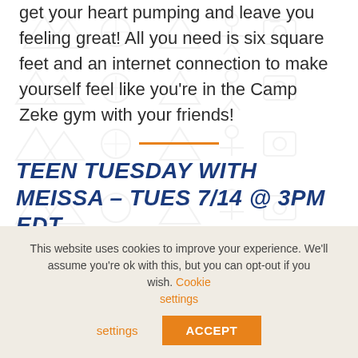get your heart pumping and leave you feeling great! All you need is six square feet and an internet connection to make yourself feel like you’re in the Camp Zeke gym with your friends!
TEEN TUESDAY WITH MEISSA – TUES 7/14 @ 3PM EDT
Teens Only: Miss Zeke’s late-night teen events? Get ready for an afternoon of connecting and fun with Meissa!
This website uses cookies to improve your experience. We’ll assume you’re ok with this, but you can opt-out if you wish. Cookie settings  ACCEPT